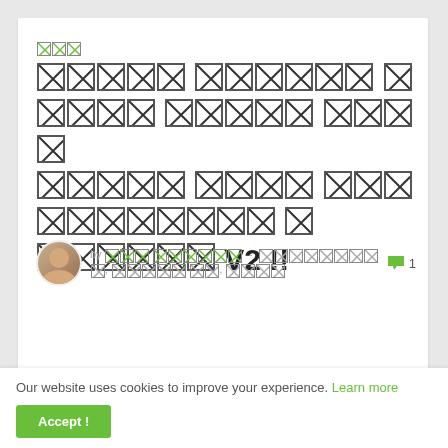□□□
□□□□□ □□□□□□ □□□□□ □□□□□ □□□□ □□□□□ □□□□ □□□□□ □□□□□□□ □□□□□□□ □ □□□□□□ V2 !!
by □□□ □□□□□ - □□□□□□□□□, □□□□□ □□, □□□□   💬 1
Our website uses cookies to improve your experience. Learn more
Accept !